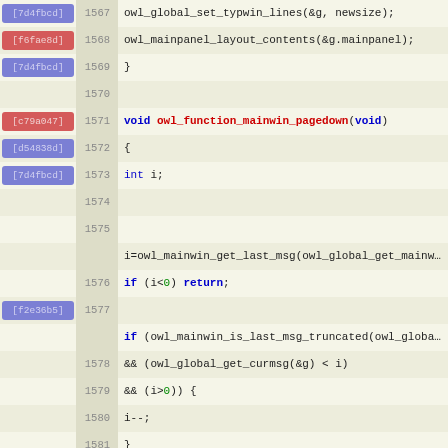[Figure (screenshot): Source code viewer showing C code lines 1567-1596 with git blame commit hashes and line numbers. Functions include owl_function_mainwin_pagedown, owl_function_mainwin_pageup, and owl_function_getsubs.]